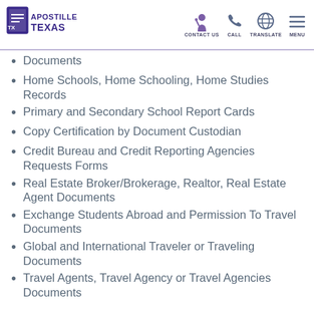APOSTILLE TEXAS | CONTACT US | CALL | TRANSLATE | MENU
Documents
Home Schools, Home Schooling, Home Studies Records
Primary and Secondary School Report Cards
Copy Certification by Document Custodian
Credit Bureau and Credit Reporting Agencies Requests Forms
Real Estate Broker/Brokerage, Realtor, Real Estate Agent Documents
Exchange Students Abroad and Permission To Travel Documents
Global and International Traveler or Traveling Documents
Travel Agents, Travel Agency or Travel Agencies Documents